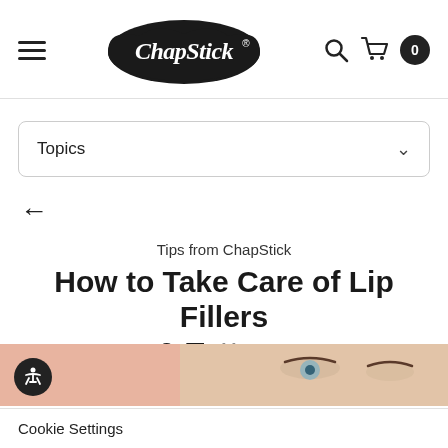[Figure (logo): ChapStick brand logo — black oval lip shape with ChapStick script text in white]
Topics
←
Tips from ChapStick
How to Take Care of Lip Fillers & Tattoos
Posted by ChapStick® on May 14th 2021
[Figure (photo): Bottom portion showing a close-up of a woman's eyes with light makeup on a pink/peach background]
Cookie Settings